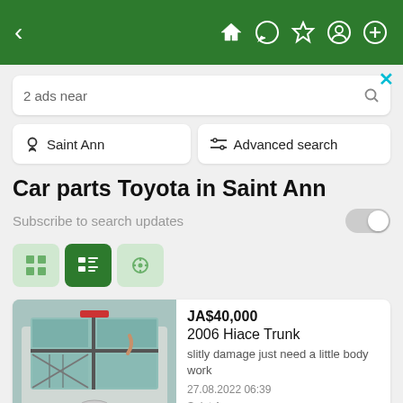[Figure (screenshot): Green navigation bar with back arrow on left and home, chat, star, user, plus icons on right]
2 ads near
Saint Ann
Advanced search
Car parts Toyota in Saint Ann
Subscribe to search updates
JA$40,000
2006 Hiace Trunk
slitly damage just need a little body work
27.08.2022 06:39
Saint Ann